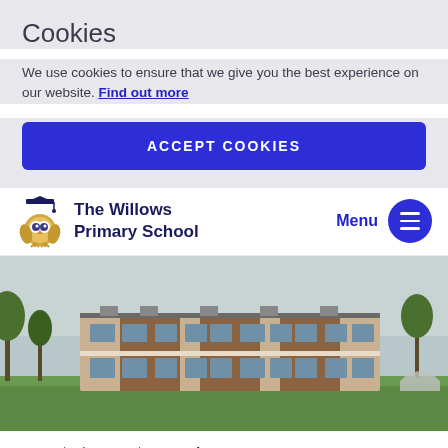Cookies
We use cookies to ensure that we give you the best experience on our website. Find out more
ACCEPT COOKIES
[Figure (logo): The Willows Primary School logo with owl mascot wearing graduation cap]
The Willows Primary School
Menu
[Figure (photo): Exterior photo of The Willows Primary School building, a two-storey modern building with wood cladding and large windows, surrounded by green fields and trees]
Home / About us / Vacancies